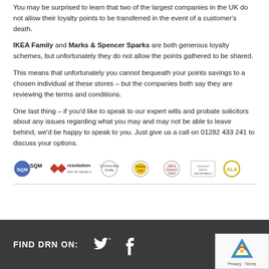You may be surprised to learn that two of the largest companies in the UK do not allow their loyalty points to be transferred in the event of a customer's death.
IKEA Family and Marks & Spencer Sparks are both generous loyalty schemes, but unfortunately they do not allow the points gathered to be shared.
This means that unfortunately you cannot bequeath your points savings to a chosen individual at these stores – but the companies both say they are reviewing the terms and conditions.
One last thing – if you'd like to speak to our expert wills and probate solicitors about any issues regarding what you may and may not be able to leave behind, we'd be happy to speak to you. Just give us a call on 01282 433 241 to discuss your options.
[Figure (logo): Row of certification logos: SQM, resolution first for family law, Conveyancing Quality, Children Law, Wills & Inheritance Quality, Contracted with the Legal Aid Agency, ALA]
FIND DRN ON: [Twitter icon] [Facebook icon]